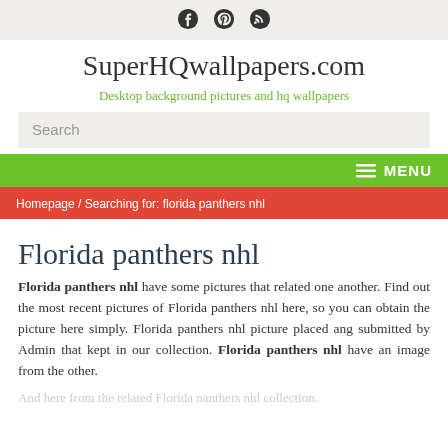[social icons: Facebook, Pinterest, RSS]
SuperHQwallpapers.com
Desktop background pictures and hq wallpapers
Search
MENU
Homepage / Searching for: florida panthers nhl
Florida panthers nhl
Florida panthers nhl have some pictures that related one another. Find out the most recent pictures of Florida panthers nhl here, so you can obtain the picture here simply. Florida panthers nhl picture placed ang submitted by Admin that kept in our collection. Florida panthers nhl have an image from the other.
[partial text continues below]